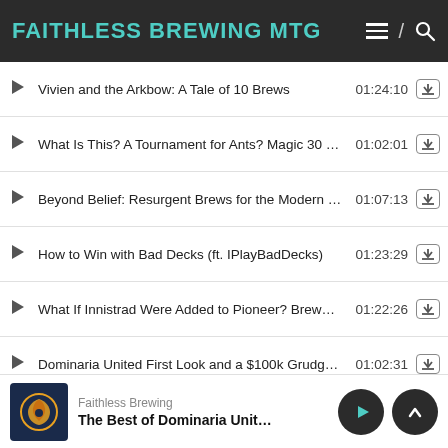FAITHLESS BREWING MTG
Vivien and the Arkbow: A Tale of 10 Brews | 01:24:10
What Is This? A Tournament for Ants? Magic 30 L... | 01:02:01
Beyond Belief: Resurgent Brews for the Modern E... | 01:07:13
How to Win with Bad Decks (ft. IPlayBadDecks) | 01:23:29
What If Innistrad Were Added to Pioneer? Brewer'... | 01:22:26
Dominaria United First Look and a $100k Grudge ... | 01:02:31
Sweet 16: Vote for Our Next Card! | 01:15:18
Five Reasons Why Token Decks Fail (ft. Serum Vi... | 01:01:12
Maestroful Brews with Corpse Appraiser, Humble ... | 01:12:39
Faithless Brewing — The Best of Dominaria United in Mo